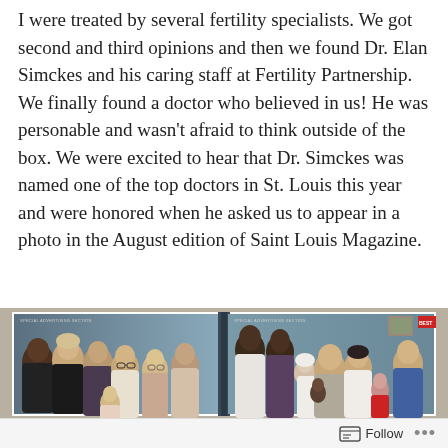I were treated by several fertility specialists. We got second and third opinions and then we found Dr. Elan Simckes and his caring staff at Fertility Partnership. We finally found a doctor who believed in us! He was personable and wasn't afraid to think outside of the box. We were excited to hear that Dr. Simckes was named one of the top doctors in St. Louis this year and were honored when he asked us to appear in a photo in the August edition of Saint Louis Magazine.
[Figure (photo): A magazine spread showing two pages from Saint Louis Magazine. The left page features a group photo of women and staff from Fertility Partnership. The right page shows Dr. Simckes with patients and their families including children.]
Follow